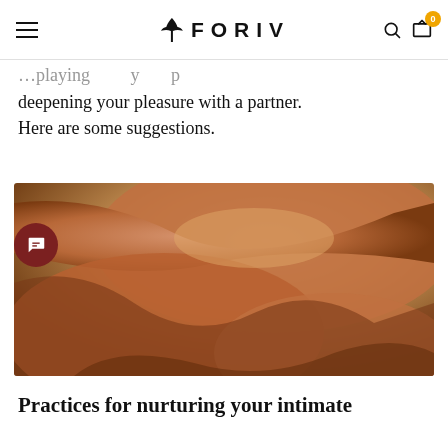FORIV — navigation header with logo, search, and cart
…playing … p
deepening your pleasure with a partner.
Here are some suggestions.
[Figure (photo): Close-up photograph of intertwined human limbs with warm brown skin tones against a light background]
Practices for nurturing your intimate